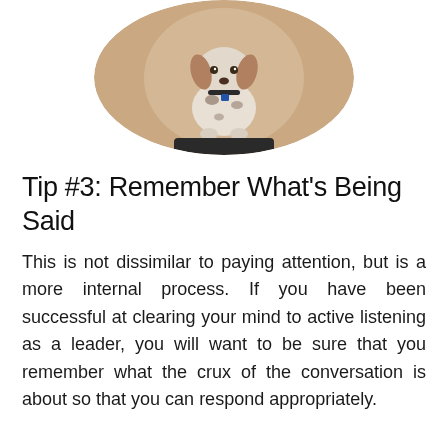[Figure (photo): A spotted dog (hound breed) sitting upright on a dark mat, facing the camera, wearing a collar with a blue tag, against a warm tan/beige background. The image is cropped in a circle showing mostly the upper portion.]
Tip #3: Remember What's Being Said
This is not dissimilar to paying attention, but is a more internal process. If you have been successful at clearing your mind to active listening as a leader, you will want to be sure that you remember what the crux of the conversation is about so that you can respond appropriately.